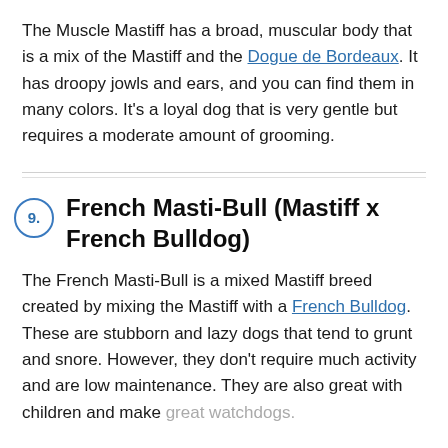The Muscle Mastiff has a broad, muscular body that is a mix of the Mastiff and the Dogue de Bordeaux. It has droopy jowls and ears, and you can find them in many colors. It's a loyal dog that is very gentle but requires a moderate amount of grooming.
9. French Masti-Bull (Mastiff x French Bulldog)
The French Masti-Bull is a mixed Mastiff breed created by mixing the Mastiff with a French Bulldog. These are stubborn and lazy dogs that tend to grunt and snore. However, they don't require much activity and are low maintenance. They are also great with children and make great watchdogs.